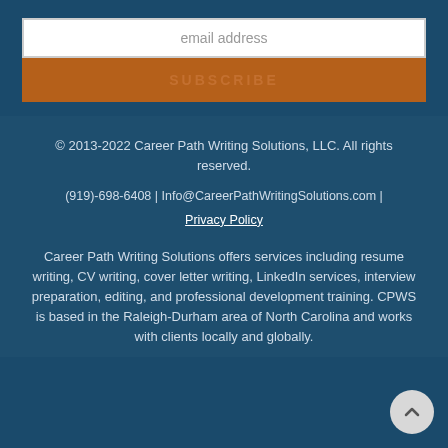[Figure (screenshot): Email address input field with placeholder text 'email address' on white background]
[Figure (screenshot): Orange SUBSCRIBE button]
© 2013-2022 Career Path Writing Solutions, LLC. All rights reserved.
(919)-698-6408 | Info@CareerPathWritingSolutions.com | Privacy Policy
Career Path Writing Solutions offers services including resume writing, CV writing, cover letter writing, LinkedIn services, interview preparation, editing, and professional development training. CPWS is based in the Raleigh-Durham area of North Carolina and works with clients locally and globally.